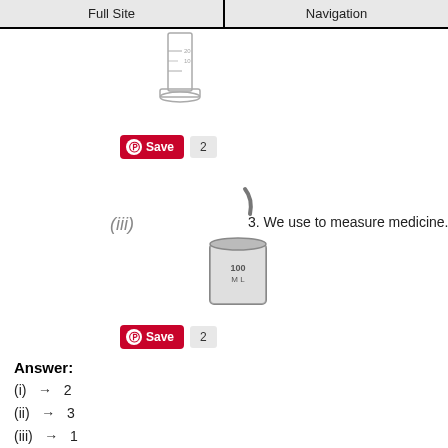Full Site | Navigation
[Figure (photo): Glass graduated cylinder/measuring flask on a stand]
Save  2
[Figure (photo): Metal ladle/measuring cup labeled 100 ML with (iii) label]
3. We use to measure medicine.
Save  2
Answer:
(i)  → 2
(ii)  → 3
(iii)  → 1